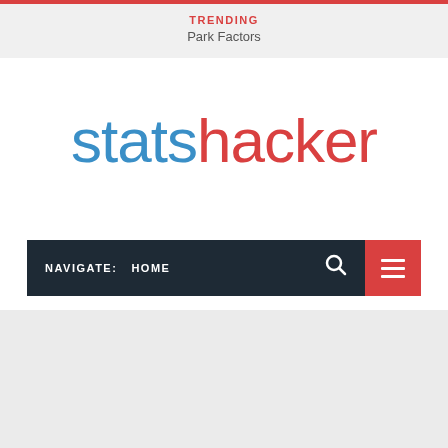TRENDING
Park Factors
[Figure (logo): statshacker logo with 'stats' in blue and 'hacker' in red]
NAVIGATE:  HOME